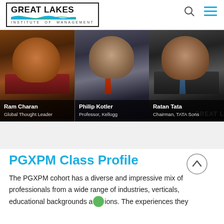Great Lakes Institute of Management
[Figure (photo): Three speaker panels showing Ram Charan (Global Thought Leader), Philip Kotler (Professor, Kellogg), and Ratan Tata (Chairman, TATA Sons) on a dark banner background]
PGXPM Class Profile
The PGXPM cohort has a diverse and impressive mix of professionals from a wide range of industries, verticals, educational backgrounds and regions. The experiences they